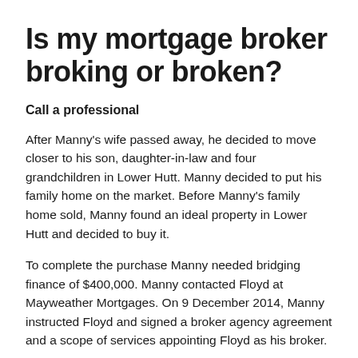Is my mortgage broker broking or broken?
Call a professional
After Manny's wife passed away, he decided to move closer to his son, daughter-in-law and four grandchildren in Lower Hutt. Manny decided to put his family home on the market. Before Manny's family home sold, Manny found an ideal property in Lower Hutt and decided to buy it.
To complete the purchase Manny needed bridging finance of $400,000. Manny contacted Floyd at Mayweather Mortgages. On 9 December 2014, Manny instructed Floyd and signed a broker agency agreement and a scope of services appointing Floyd as his broker.
Manny gave Floyd an unconditional contract to purchase the Lower Hutt property with settlement in 10 days' time. Manny told Floyd his income was his national superannuation but he had savings consisting of three